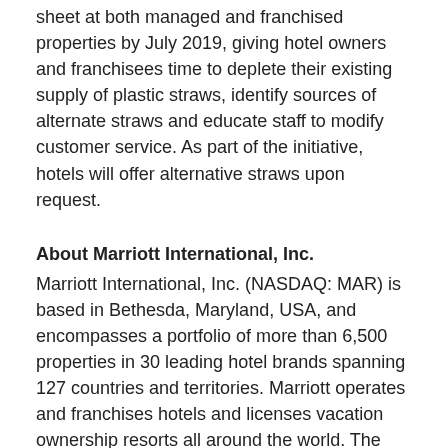sheet at both managed and franchised properties by July 2019, giving hotel owners and franchisees time to deplete their existing supply of plastic straws, identify sources of alternate straws and educate staff to modify customer service. As part of the initiative, hotels will offer alternative straws upon request.
About Marriott International, Inc.
Marriott International, Inc. (NASDAQ: MAR) is based in Bethesda, Maryland, USA, and encompasses a portfolio of more than 6,500 properties in 30 leading hotel brands spanning 127 countries and territories. Marriott operates and franchises hotels and licenses vacation ownership resorts all around the world. The company also operates award-winning loyalty programs: Marriott Rewards®, which includes The Ritz-Carlton Rewards®, and Starwood Preferred Guest®. For more information, please visit our website at www.marriott.com, and for the latest company news, visit www.marriottnewscenter.com. In addition,